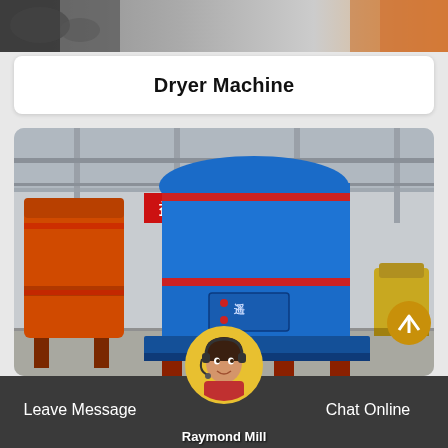[Figure (photo): Top strip showing industrial machinery, partially visible at top of page]
Dryer Machine
[Figure (photo): Raymond Mill industrial grinding machines in blue and orange colors inside a factory warehouse with red banner signs in Chinese]
[Figure (photo): Customer service avatar of woman with headset inside circular frame]
Leave Message   Raymond Mill   Chat Online